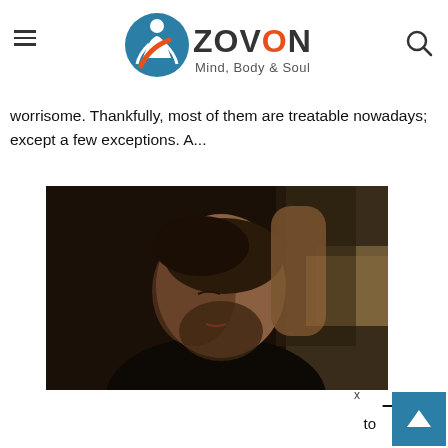ZOVON Mind, Body & Soul
worrisome. Thankfully, most of them are treatable nowadays; except a few exceptions. A...
[Figure (photo): A bearded man with his head bowed down and hand raised to the back of his head, in a dark moody setting, suggesting stress or depression.]